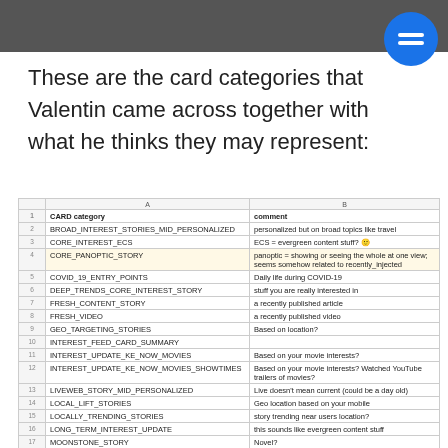These are the card categories that Valentin came across together with what he thinks they may represent:
|  | CARD category | comment |
| --- | --- | --- |
| 2 | BROAD_INTEREST_STORIES_MID_PERSONALIZED | personalized but on broad topics like travel |
| 3 | CORE_INTEREST_ECS | ECS = evergreen content stuff? 🙂 |
| 4 | CORE_PANOPTIC_STORY | panoptic = showing or seeing the whole at one view; seems somehow related to recently_injected |
| 5 | COVID_19_ENTRY_POINTS | Daily life during COVID-19 |
| 6 | DEEP_TRENDS_CORE_INTEREST_STORY | stuff you are really interested in |
| 7 | FRESH_CONTENT_STORY | a recently published article |
| 8 | FRESH_VIDEO | a recently published video |
| 9 | GEO_TARGETING_STORIES | Based on location? |
| 10 | INTEREST_FEED_CARD_SUMMARY |  |
| 11 | INTEREST_UPDATE_KE_NOW_MOVIES | Based on your movie interests? |
| 12 | INTEREST_UPDATE_KE_NOW_MOVIES_SHOWTIMES | Based on your movie interests? Watched YouTube trailers of movies? |
| 13 | LIVEWEB_STORY_MID_PERSONALIZED | Live doesn't mean current (could be a day old) |
| 14 | LOCAL_LIFT_STORIES | Geo location based on your mobile |
| 15 | LOCALLY_TRENDING_STORIES | story trending near users location? |
| 16 | LONG_TERM_INTEREST_UPDATE | this sounds like evergreen content stuff |
| 17 | MOONSTONE_STORY | Novel? |
| 18 | NEW_TO_YOU_GROUPING |  |
| 19 | NEW_TO_YOU_UPDATE_VASCO_TASK |  |
| 20 | NEWS_HEADLINES | Google News widget |
| 21 | RECENTLY_FOLLOWED_INJECTION_HERO_STORY | based on recently added entity |
| 22 | SAPPHIRE_STORY |  |
| 23 | URL_TO_URL_RECOMMENDATION_UPDATE | In case you missed it |
| 24 | WEBKICK_STORY_GENERAL | a news non-specific to the profile |
| 25 | WEBKICK_STORY_LOCAL_PERSONALIZED | local story connected by interest |
| 26 | WEBKICK_STORY_LOCAL_UNPERSONALIZED |  |
| 27 | WEBKICK_STORY_MID_PERSONALIZED_JUSTIFIED | story connected to profile through implicit follow |